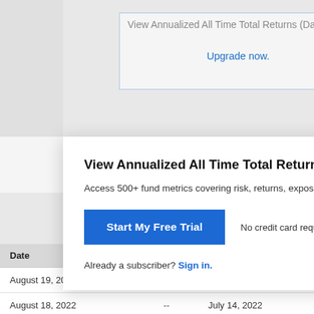View Annualized All Time Total Returns (Dai…
Upgrade now.
View Annualized All Time Total Returns (Daily) f…
Access 500+ fund metrics covering risk, returns, exposu…
Start My Free Trial
No credit card required.
Already a subscriber? Sign in.
| Date | Value | Date |
| --- | --- | --- |
| August 19, 2022 | -- | July 15, 2022 |
| August 18, 2022 | -- | July 14, 2022 |